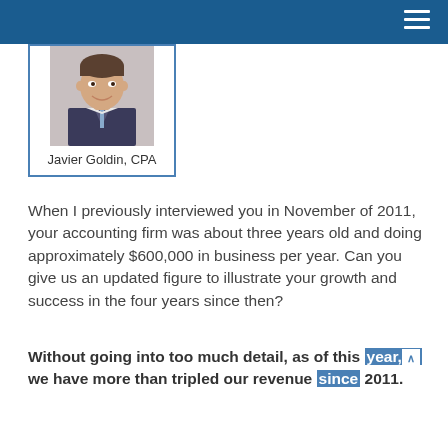[Figure (photo): Profile photo of Javier Goldin, CPA — a man in a suit and tie, smiling, in a bordered card.]
Javier Goldin, CPA
When I previously interviewed you in November of 2011, your accounting firm was about three years old and doing approximately $600,000 in business per year. Can you give us an updated figure to illustrate your growth and success in the four years since then?
Without going into too much detail, as of this year, we have more than tripled our revenue since 2011.